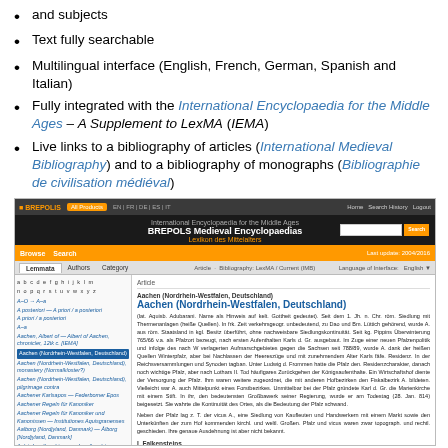and subjects
Text fully searchable
Multilingual interface (English, French, German, Spanish and Italian)
Fully integrated with the International Encyclopaedia for the Middle Ages – A Supplement to LexMA (IEMA)
Live links to a bibliography of articles (International Medieval Bibliography) and to a bibliography of monographs (Bibliographie de civilisation médiéval)
[Figure (screenshot): Screenshot of the BREPOLS Medieval Encyclopaedias website showing the International Encyclopaedia for the Middle Ages / Lexikon des Mittelalters interface, with browse/search navigation, alphabetical sidebar with entries, and an article about Aachen (Nordrhein-Westfalen, Deutschland).]